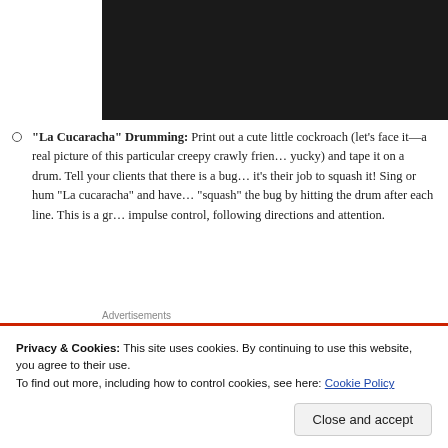[Figure (photo): Dark/black image area at top right of page, partially visible]
“La Cucaracha” Drumming: Print out a cute little cockroach (let’s face it—a real picture of this particular creepy crawly friend is yucky) and tape it on a drum. Tell your clients that there is a bug and it’s their job to squash it! Sing or hum “La cucaracha” and have them “squash” the bug by hitting the drum after each line. This is a gr... impulse control, following directions and attention.
Advertisements
ThePlatform Where WordPress Works Best
Privacy & Cookies: This site uses cookies. By continuing to use this website, you agree to their use.
To find out more, including how to control cookies, see here: Cookie Policy
Close and accept